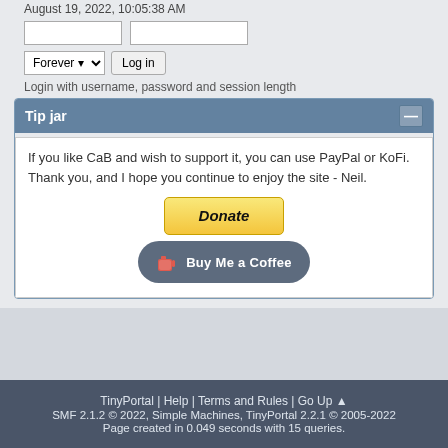August 19, 2022, 10:05:38 AM
Login with username, password and session length
Tip jar
If you like CaB and wish to support it, you can use PayPal or KoFi. Thank you, and I hope you continue to enjoy the site - Neil.
[Figure (other): PayPal Donate button]
[Figure (other): Buy Me a Coffee button]
TinyPortal | Help | Terms and Rules | Go Up ▲
SMF 2.1.2 © 2022, Simple Machines, TinyPortal 2.2.1 © 2005-2022
Page created in 0.049 seconds with 15 queries.